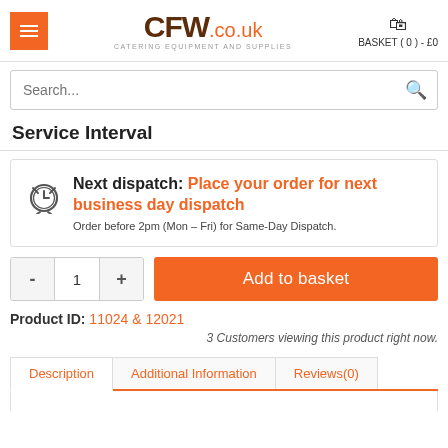CFW.co.uk - CATERING EQUIPMENT AND SUPPLIES | BASKET (0) - £0
Search...
Service Interval
Next dispatch: Place your order for next business day dispatch. Order before 2pm (Mon – Fri) for Same-Day Dispatch.
- 1 + Add to basket
Product ID: 11024 & 12021
3 Customers viewing this product right now.
Description | Additional Information | Reviews(0)